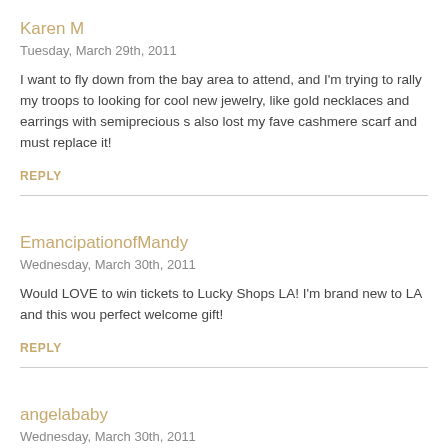Karen M
Tuesday, March 29th, 2011
I want to fly down from the bay area to attend, and I'm trying to rally my troops to looking for cool new jewelry, like gold necklaces and earrings with semiprecious s also lost my fave cashmere scarf and must replace it!
REPLY
EmancipationofMandy
Wednesday, March 30th, 2011
Would LOVE to win tickets to Lucky Shops LA! I'm brand new to LA and this wou perfect welcome gift!
REPLY
angelababy
Wednesday, March 30th, 2011
i wanna go!!!! pick me =p
REPLY